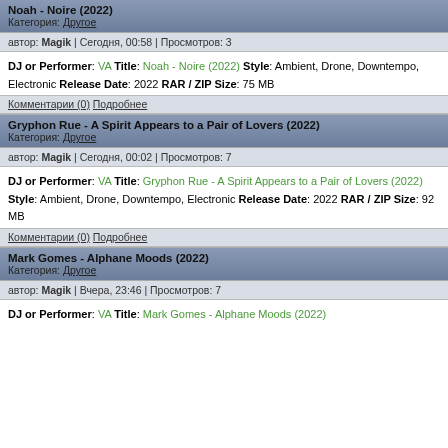Noah - Noire (2022)
Категория: Другое
автор: Magik | Сегодня, 00:58 | Просмотров: 3
DJ or Performer: VA
Title: Noah - Noire (2022)
Style: Ambient, Drone, Downtempo, Electronic
Release Date: 2022
RAR / ZIP Size: 75 MB
Комментарии (0) Подробнее
Gryphon Rue - A Spirit Appears to a Pair of Lovers (2022)
Категория: Другое
автор: Magik | Сегодня, 00:02 | Просмотров: 7
DJ or Performer: VA
Title: Gryphon Rue - A Spirit Appears to a Pair of Lovers (2022)
Style: Ambient, Drone, Downtempo, Electronic
Release Date: 2022
RAR / ZIP Size: 92 MB
Комментарии (0) Подробнее
Mark Gomes - Alphane Moods (2022)
Категория: Другое
автор: Magik | Вчера, 23:46 | Просмотров: 7
DJ or Performer: VA
Title: Mark Gomes - Alphane Moods (2022)